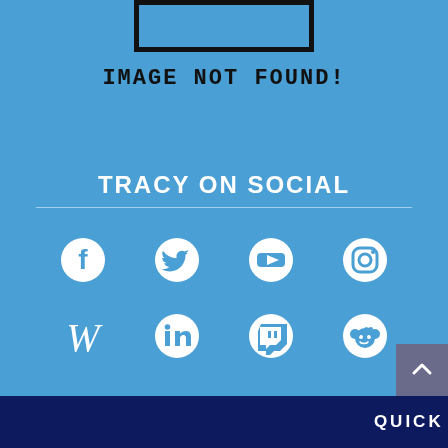[Figure (illustration): Image not found placeholder box — black bordered rectangle on blue background]
IMAGE NOT FOUND!
TRACY ON SOCIAL
[Figure (illustration): Social media icons row 1: Facebook, Twitter, YouTube, Instagram]
[Figure (illustration): Social media icons row 2: Wikipedia, LinkedIn, Twitch, Reddit]
QUICK FACTS